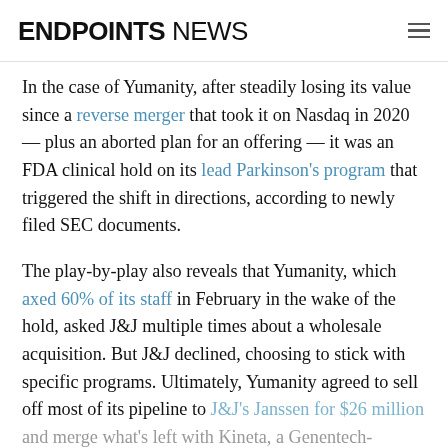ENDPOINTS NEWS
In the case of Yumanity, after steadily losing its value since a reverse merger that took it on Nasdaq in 2020 — plus an aborted plan for an offering — it was an FDA clinical hold on its lead Parkinson's program that triggered the shift in directions, according to newly filed SEC documents.
The play-by-play also reveals that Yumanity, which axed 60% of its staff in February in the wake of the hold, asked J&J multiple times about a wholesale acquisition. But J&J declined, choosing to stick with specific programs. Ultimately, Yumanity agreed to sell off most of its pipeline to J&J's Janssen for $26 million and merge what's left with Kineta, a Genentech-partnered oncology drug developer...